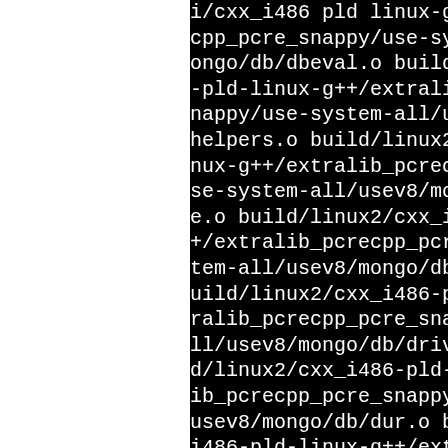[Figure (screenshot): Terminal/build output showing a long compiler or linker command line with paths including linux2/cxx_i486-pld-linux-g++/extralib_pcrecpp_pcre_snappy/use-system-all/usev8/mongo/db/ and various .o object files, rendered as white monospace text on black background. Left portion of page is white (blank).]